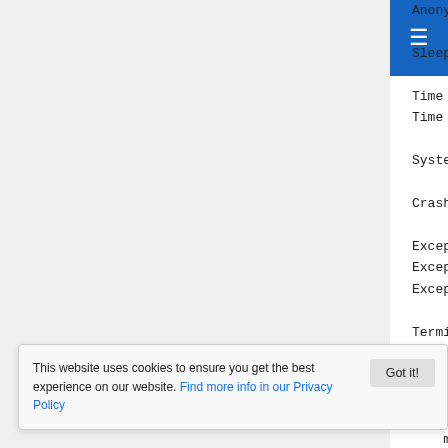Anonymous UUID:    2F5F2F8B-
Sleep/Wake UUID:   0BAB6584
Time Awake Since Boot: 110000 se
Time Since Wake:       280 secon
System Integrity Protection: ena
Crashed Thread:        0  Dispat
Exception Type:        EXC_BAD_A
Exception Codes:       KERN_PROT
Exception Note:        EXC_CORPS
Termination Signal:    Bus error
Termination Reason:    Namespace
Terminating Process:   exc handl
VM Regions Near 0x10a213320:
mapped file          00000
--> JS garbage collector 00000
ster file            00000
ed:: Dispatch queu
ject.QtQml
2   org.qt-project.QtQml
This website uses cookies to ensure you get the best experience on our website. Find more info in our Privacy Policy
Got it!